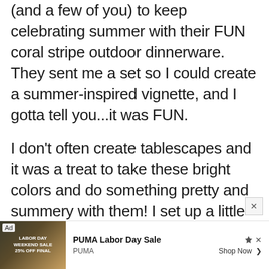(and a few of you) to keep celebrating summer with their FUN coral stripe outdoor dinnerware. They sent me a set so I could create a summer-inspired vignette, and I gotta tell you...it was FUN.

I don't often create tablescapes and it was a treat to take these bright colors and do something pretty and summery with them! I set up a little coral shindig on our outdoor DIY table I showed you last summer.
[Figure (screenshot): Advertisement banner for PUMA Labor Day Sale showing PUMA branding and 'Shop Now' call to action]